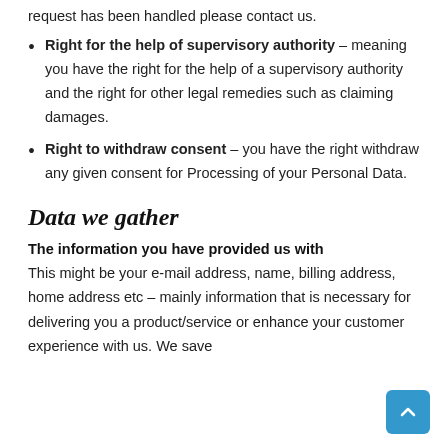request has been handled please contact us.
Right for the help of supervisory authority – meaning you have the right for the help of a supervisory authority and the right for other legal remedies such as claiming damages.
Right to withdraw consent – you have the right withdraw any given consent for Processing of your Personal Data.
Data we gather
The information you have provided us with
This might be your e-mail address, name, billing address, home address etc – mainly information that is necessary for delivering you a product/service or enhance your customer experience with us. We save